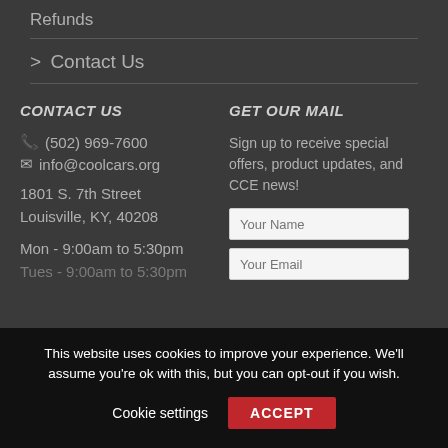Refunds
> Contact Us
CONTACT US
(502) 969-7600
info@coolcars.org
1801 S. 7th Street
Louisville, KY, 40208
Mon - 9:00am to 5:30pm
Tues - 9:00am to 5:30pm
GET OUR MAIL
Sign up to receive special offers, product updates, and CCE news!
Your Name
Your Email
This website uses cookies to improve your experience. We'll assume you're ok with this, but you can opt-out if you wish.
Cookie settings
ACCEPT